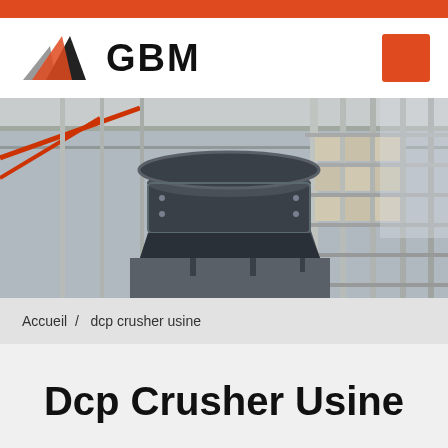[Figure (logo): GBM company logo with triangular mountain graphic in orange and grey, company name GBM in bold black text]
[Figure (photo): Industrial crusher machine (cone crusher) inside a large factory/plant building with steel scaffolding and structural framework visible in the background]
Accueil  /  dcp crusher usine
Dcp Crusher Usine